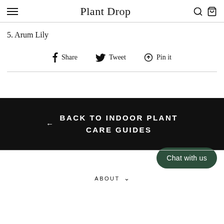Plant Drop
5. Arum Lily
Share  Tweet  Pin it
← BACK TO INDOOR PLANT CARE GUIDES
Chat with us
ABOUT